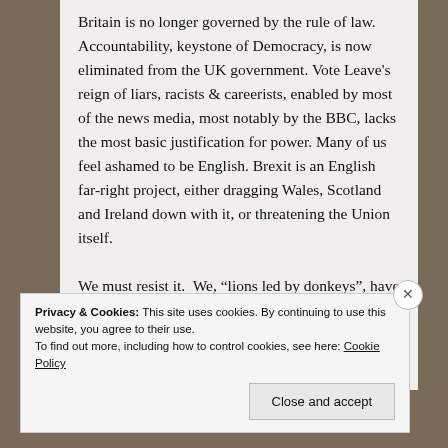Britain is no longer governed by the rule of law. Accountability, keystone of Democracy, is now eliminated from the UK government. Vote Leave's reign of liars, racists & careerists, enabled by most of the news media, most notably by the BBC, lacks the most basic justification for power. Many of us feel ashamed to be English. Brexit is an English far-right project, either dragging Wales, Scotland and Ireland down with it, or threatening the Union itself. We must resist it.  We, “lions led by donkeys”, have been betrayed by the privileged political
Privacy & Cookies: This site uses cookies. By continuing to use this website, you agree to their use.
To find out more, including how to control cookies, see here: Cookie Policy
Close and accept